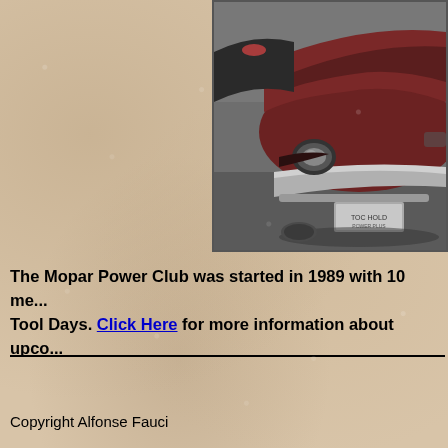[Figure (photo): Close-up front view of a classic red/dark Mopar muscle car (likely a Plymouth or Dodge), showing the front hood, headlight, and chrome bumper, parked on a gray concrete/asphalt surface.]
The Mopar Power Club was started in 1989 with 10 me... Tool Days. Click Here for more information about upco...
Copyright Alfonse Fauci